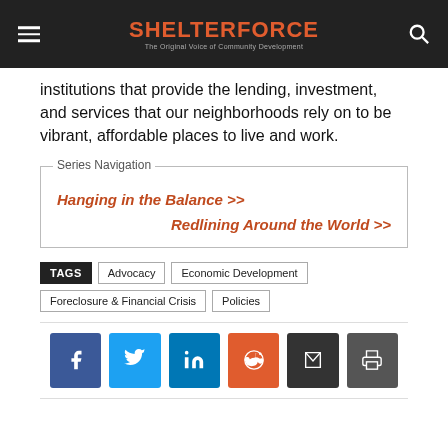SHELTERFORCE — The Original Voice of Community Development
institutions that provide the lending, investment, and services that our neighborhoods rely on to be vibrant, affordable places to live and work.
Series Navigation
Hanging in the Balance >>
Redlining Around the World >>
TAGS  Advocacy  Economic Development  Foreclosure & Financial Crisis  Policies
[Figure (infographic): Social sharing buttons: Facebook, Twitter, LinkedIn, Reddit, Email, Print]